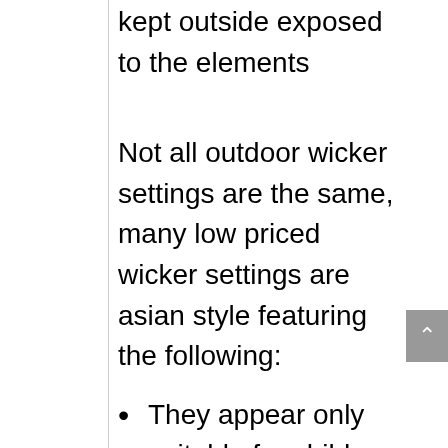kept outside exposed to the elements
Not all outdoor wicker settings are the same, many low priced wicker settings are asian style featuring the following:
They appear only suitable for children due to the scaled down size
They are not fully welded